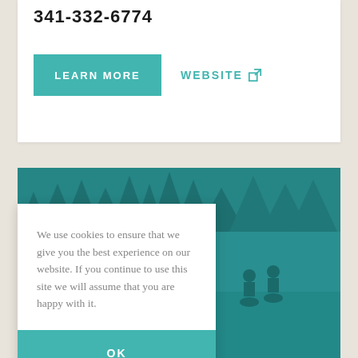341-332-6774
LEARN MORE
WEBSITE
[Figure (photo): Teal-tinted outdoor photo showing cyclists riding through a grassy field with trees in the background, overlaid with a white outline shape of Oregon state]
We use cookies to ensure that we give you the best experience on our website. If you continue to use this site we will assume that you are happy with it.
OK